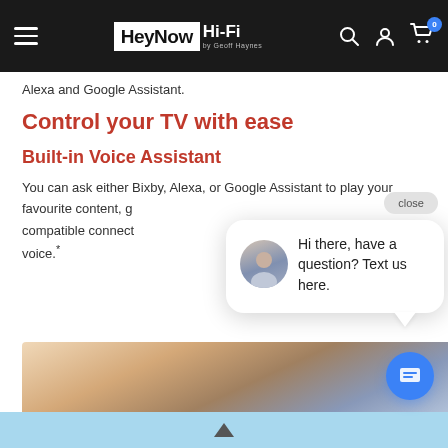HeyNow Hi-Fi by Geoff Haynes
Alexa and Google Assistant.
Control your TV with ease
Built-in Voice Assistant
You can ask either Bixby, Alexa, or Google Assistant to play your favourite content, g... compatible connect... voice.*
[Figure (screenshot): Chat popup overlay with avatar, message 'Hi there, have a question? Text us here.' and close button]
[Figure (photo): Partial image strip at bottom showing sky/landscape]
Navigation arrow indicator